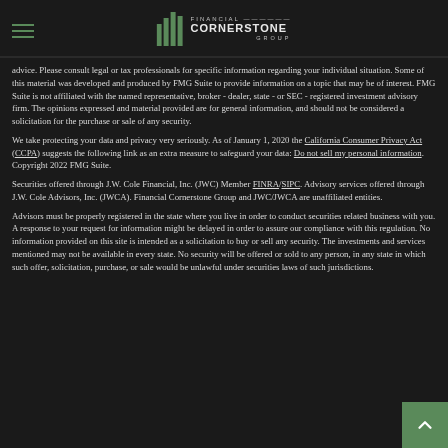Financial Cornerstone Group
advice. Please consult legal or tax professionals for specific information regarding your individual situation. Some of this material was developed and produced by FMG Suite to provide information on a topic that may be of interest. FMG Suite is not affiliated with the named representative, broker - dealer, state - or SEC - registered investment advisory firm. The opinions expressed and material provided are for general information, and should not be considered a solicitation for the purchase or sale of any security.
We take protecting your data and privacy very seriously. As of January 1, 2020 the California Consumer Privacy Act (CCPA) suggests the following link as an extra measure to safeguard your data: Do not sell my personal information. Copyright 2022 FMG Suite.
Securities offered through J.W. Cole Financial, Inc. (JWC) Member FINRA/SIPC. Advisory services offered through J.W. Cole Advisors, Inc. (JWCA). Financial Cornerstone Group and JWC/JWCA are unaffiliated entities.
Advisors must be properly registered in the state where you live in order to conduct securities related business with you. A response to your request for information might be delayed in order to assure our compliance with this regulation. No information provided on this site is intended as a solicitation to buy or sell any security. The investments and services mentioned may not be available in every state. No security will be offered or sold to any person, in any state in which such offer, solicitation, purchase, or sale would be unlawful under securities laws of such jurisdictions.